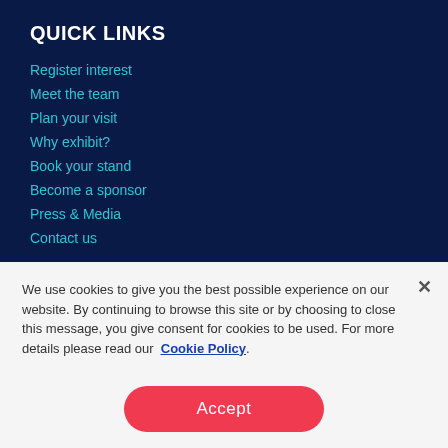QUICK LINKS
Register interest
Meet the team
Plan your visit
Why exhibit?
Book your stand
Become a sponsor
Press & Media
Contact us
We use cookies to give you the best possible experience on our website. By continuing to browse this site or by choosing to close this message, you give consent for cookies to be used. For more details please read our Cookie Policy.
Accept